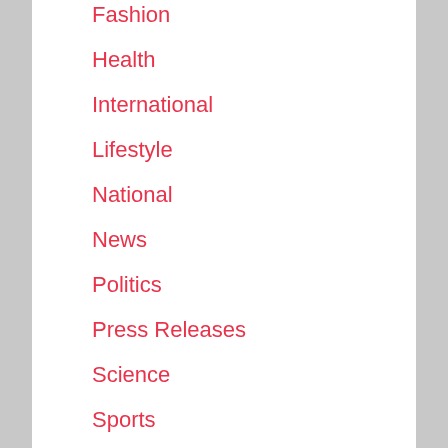Fashion
Health
International
Lifestyle
National
News
Politics
Press Releases
Science
Sports
Technology
Trending News
U.S. News
Uncategorized